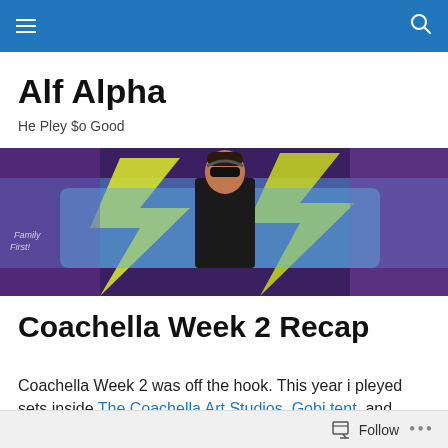Alf Alpha — navigation bar
Alf Alpha
He Pley $o Good
[Figure (photo): Person wearing sunglasses standing in front of colorful graffiti wall with large stylized letters in yellow, blue, and purple. Text on wall reads 'Family First'.]
Coachella Week 2 Recap
Coachella Week 2 was off the hook. This year i pleyed sets inside The Coachella Art Studios, Gobi tent, and Campground Silent Disco. I saw a lot of amazing
Follow